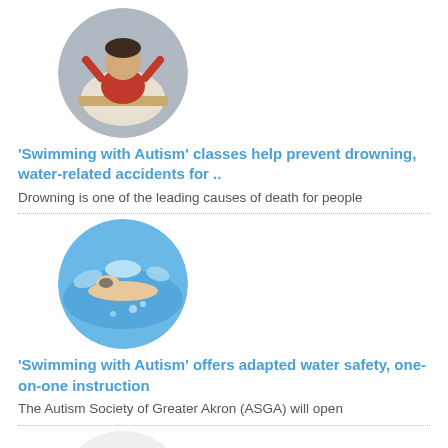[Figure (photo): Circular thumbnail of a child in a red shirt at a table, raising hand]
'Swimming with Autism' classes help prevent drowning, water-related accidents for ..
Drowning is one of the leading causes of death for people
[Figure (photo): Circular thumbnail of a swimmer in a pool with splashing water]
'Swimming with Autism' offers adapted water safety, one-on-one instruction
The Autism Society of Greater Akron (ASGA) will open
[Figure (photo): Circular thumbnail showing letter tiles spelling 'IEP' or similar on a light background]
Discussion June 10 centers around links between autism, epilepsy